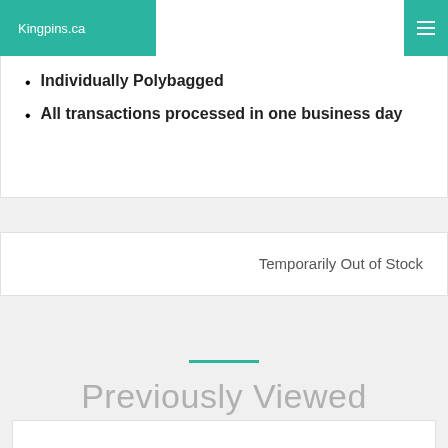Kingpins.ca
Individually Polybagged
All transactions processed in one business day
Temporarily Out of Stock
Previously Viewed